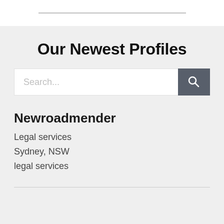Our Newest Profiles
Search...
Newroadmender
Legal services
Sydney, NSW
legal services